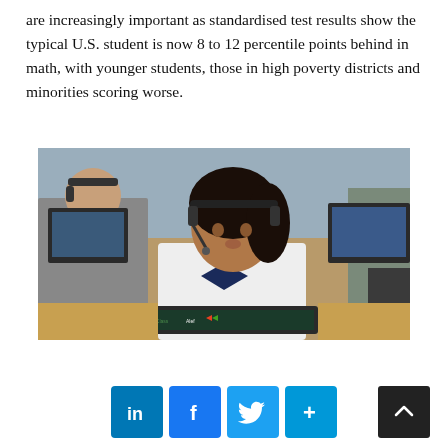are increasingly important as standardised test results show the typical U.S. student is now 8 to 12 percentile points behind in math, with younger students, those in high poverty districts and minorities scoring worse.
[Figure (photo): A young girl wearing a headset sits at a desk using a laptop in a classroom setting. Other students with headsets and laptops are visible in the background.]
[Figure (infographic): Social sharing buttons: LinkedIn, Facebook, Twitter, and a plus button, plus a scroll-to-top arrow button.]